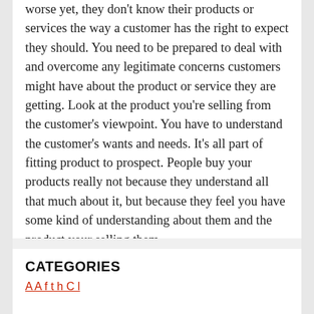worse yet, they don't know their products or services the way a customer has the right to expect they should. You need to be prepared to deal with and overcome any legitimate concerns customers might have about the product or service they are getting. Look at the product you're selling from the customer's viewpoint. You have to understand the customer's wants and needs. It's all part of fitting product to prospect. People buy your products really not because they understand all that much about it, but because they feel you have some kind of understanding about them and the product your selling them.
CATEGORIES